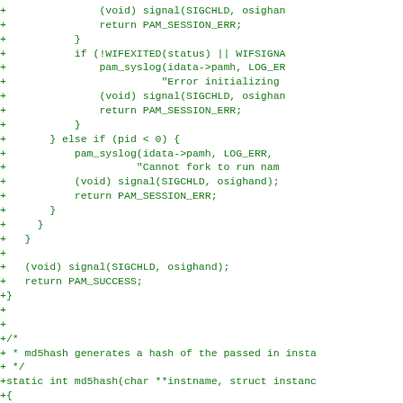[Figure (other): Source code diff (green +lines) showing C code with signal handling, PAM session error returns, fork error handling, and md5hash function declaration]